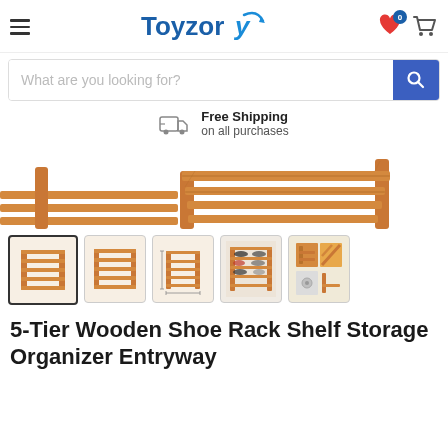[Figure (logo): Toyzory brand logo with stylized text and swoosh]
[Figure (screenshot): Search bar with placeholder 'What are you looking for?' and blue search button]
Free Shipping on all purchases
[Figure (photo): 5-Tier Wooden Shoe Rack Shelf - partial top view showing wooden slats and legs on white background]
[Figure (photo): Thumbnail gallery of 5 product images: front view (selected), side view, dimensions view, loaded with shoes, detail/corner view]
5-Tier Wooden Shoe Rack Shelf Storage Organizer Entryway